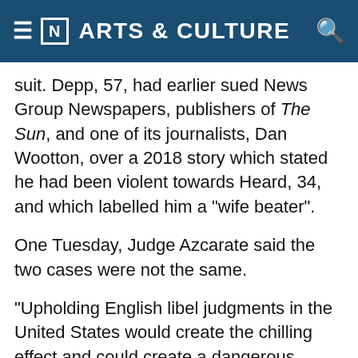[N] ARTS & CULTURE
suit. Depp, 57, had earlier sued News Group Newspapers, publishers of The Sun, and one of its journalists, Dan Wootton, over a 2018 story which stated he had been violent towards Heard, 34, and which labelled him a "wife beater".
One Tuesday, Judge Azcarate said the two cases were not the same.
"Upholding English libel judgments in the United States would create the chilling effect and could create a dangerous precedent. Accordingly, this Court is unpersuaded by Defendant's argument," the judge opined, as reported by USA Today.